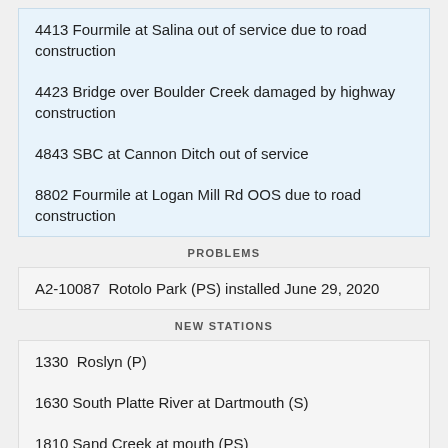4413 Fourmile at Salina out of service due to road construction
4423 Bridge over Boulder Creek damaged by highway construction
4843 SBC at Cannon Ditch out of service
8802 Fourmile at Logan Mill Rd OOS due to road construction
PROBLEMS
A2-10087  Rotolo Park (PS) installed June 29, 2020
NEW STATIONS
1330  Roslyn (P)
1630 South Platte River at Dartmouth (S)
1810 Sand Creek at mouth (PS)
3433 Square Mountain (M)